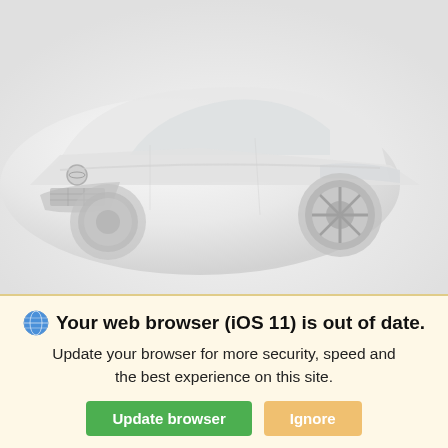[Figure (photo): Front/side view of a white 2022 Nissan Murano AWD SUV on a light gray background, showing the front grille, hood, and right wheel.]
New 2022 Nissan Murano AWD
SV SUV Sport Utility 1-Speed CVT w/OD
Market Price
Call Us
*First Name
*Last Name
Your web browser (iOS 11) is out of date.
Update your browser for more security, speed and the best experience on this site.
Update browser
Ignore